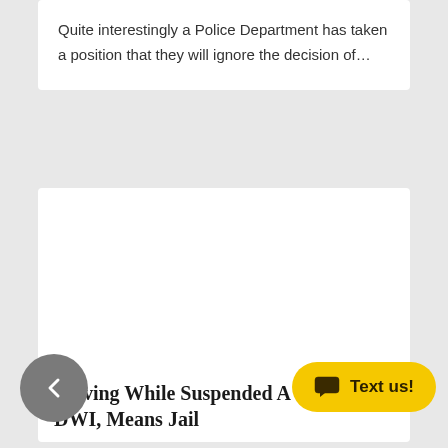Quite interestingly a Police Department has taken a position that they will ignore the decision of…
[Figure (other): White card with blank/empty content area]
Driving While Suspended After DWI, Means Jail